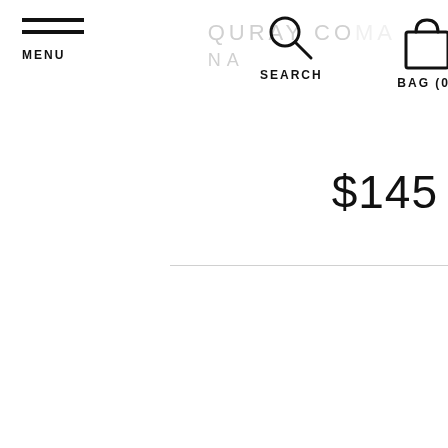[Figure (screenshot): Website navigation header with hamburger menu icon, search icon, and shopping bag icon. Brand name 'QURAY COMA' (partially visible) and 'NA' text in light gray. Price display showing $145.]
MENU
SEARCH
BAG (0)
$145